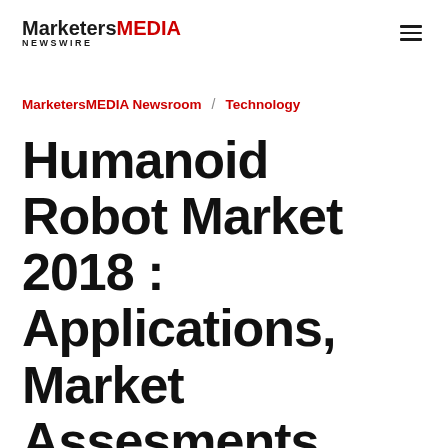MarketersMEDIA NEWSWIRE
MarketersMEDIA Newsroom / Technology
Humanoid Robot Market 2018 : Applications, Market Assesments, Key